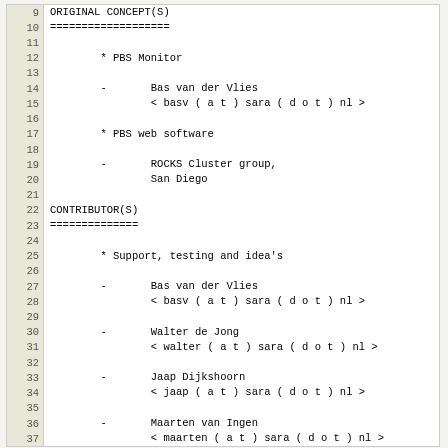| line | content |
| --- | --- |
| 9 | ORIGINAL CONCEPT(S) |
| 10 | =================== |
| 11 |  |
| 12 |         * PBS Monitor |
| 13 |  |
| 14 |         -       Bas van der Vlies |
| 15 |                 < basv ( a t ) sara ( d o t ) nl > |
| 16 |  |
| 17 |         * PBS web software |
| 18 |  |
| 19 |         -       ROCKS Cluster group, |
| 20 |                 San Diego |
| 21 |  |
| 22 | CONTRIBUTOR(S) |
| 23 | ============== |
| 24 |  |
| 25 |         * Support, testing and idea's |
| 26 |  |
| 27 |         -       Bas van der Vlies |
| 28 |                 < basv ( a t ) sara ( d o t ) nl > |
| 29 |  |
| 30 |         -       Walter de Jong |
| 31 |                 < walter ( a t ) sara ( d o t ) nl > |
| 32 |  |
| 33 |         -       Jaap Dijkshoorn |
| 34 |                 < jaap ( a t ) sara ( d o t ) nl > |
| 35 |  |
| 36 |         -       Maarten van Ingen |
| 37 |                 < maarten ( a t ) sara ( d o t ) nl > |
View changes...
Note: See TracBrowser for help on using the repository browser.